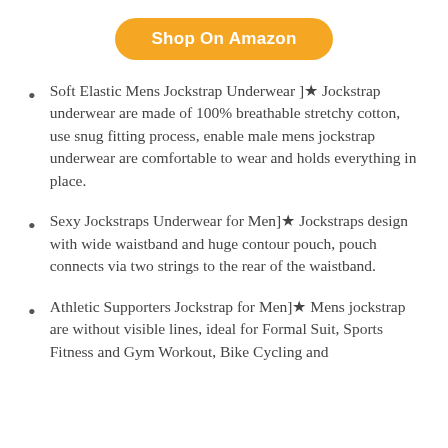[Figure (other): Orange rounded button labeled 'Shop On Amazon']
Soft Elastic Mens Jockstrap Underwear ]★ Jockstrap underwear are made of 100% breathable stretchy cotton, use snug fitting process, enable male mens jockstrap underwear are comfortable to wear and holds everything in place.
Sexy Jockstraps Underwear for Men]★ Jockstraps design with wide waistband and huge contour pouch, pouch connects via two strings to the rear of the waistband.
Athletic Supporters Jockstrap for Men]★ Mens jockstrap are without visible lines, ideal for Formal Suit, Sports Fitness and Gym Workout, Bike Cycling and